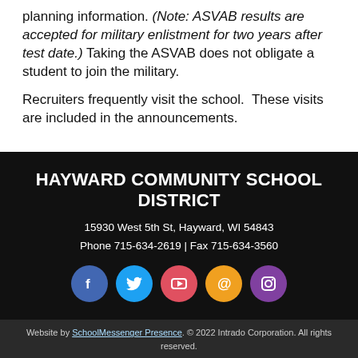planning information. (Note: ASVAB results are accepted for military enlistment for two years after test date.) Taking the ASVAB does not obligate a student to join the military.
Recruiters frequently visit the school.  These visits are included in the announcements.
HAYWARD COMMUNITY SCHOOL DISTRICT
15930 West 5th St, Hayward, WI 54843
Phone 715-634-2619 | Fax 715-634-3560
[Figure (infographic): Row of five social media icon circles: Facebook (blue), Twitter (light blue), YouTube (red/pink), Email/@ (orange), Instagram (purple)]
Website by SchoolMessenger Presence. © 2022 Intrado Corporation. All rights reserved.